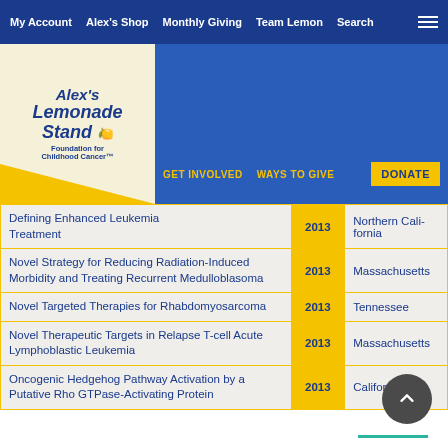My Account | Alex's Shop | Monthly Giving | Team Lemon | Search
[Figure (logo): Alex's Lemonade Stand Foundation for Childhood Cancer logo]
| Title | Year | State |
| --- | --- | --- |
| Defining Enhanced Leukemia Treatment | 2013 | Northern California |
| Novel Strategy for Reducing Radiation-Induced Morbidity and Treating Recurrent Medulloblasoma | 2013 | Massachusetts |
| Novel Targeted Therapies for Rhabdomyosarcoma | 2013 | Tennessee |
| Novel Therapeutic Targets in Relapse T-cell Acute Lymphoblastic Leukemia | 2013 | Massachusetts |
| Oncogenic Hedgehog Pathway Activation by a Putative Rho GTPase-Activating Protein | 2013 | California |